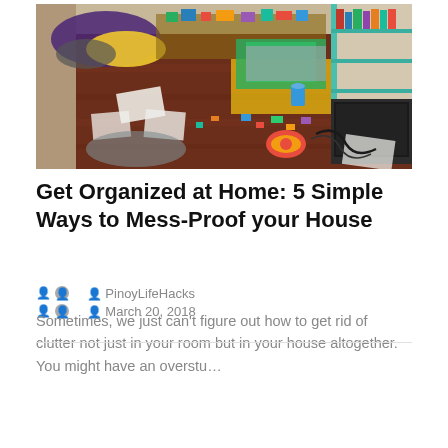[Figure (photo): Photo of a very messy room with toys, LEGO pieces, clothes, and papers scattered all over a hardwood floor. A television and shelves are visible in the background.]
Get Organized at Home: 5 Simple Ways to Mess-Proof your House
PinoyLifeHacks   March 20, 2018
Sometimes, we just can't figure out how to get rid of clutter not just in your room but in your house altogether. You might have an overstu...